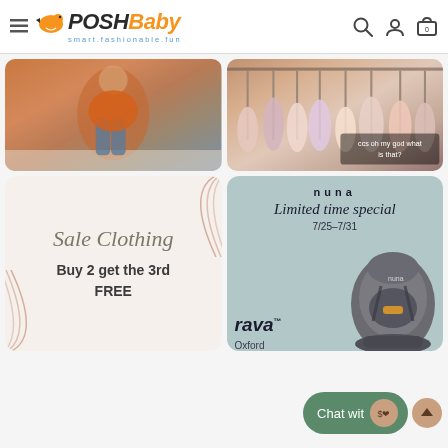PoshBaby — smart.fashionable.fun
[Figure (photo): Child sitting on floor wearing orange top and jeans]
[Figure (photo): Rack of girls dresses in various colors with overlay text: ccs oh my god what is that?]
[Figure (infographic): Sale Clothing promotion card: Buy 2 get the 3rd FREE, cream background with rose gold arc decorations]
[Figure (infographic): Nuna brand ad: Limited time special 7/25-7/31, rava car seat in Oxford color on blue-grey background]
Chat wit